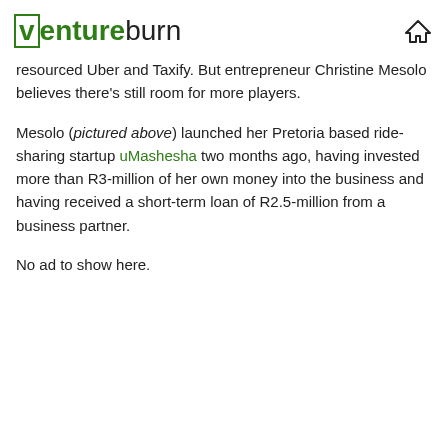ventureburn
resourced Uber and Taxify. But entrepreneur Christine Mesolo believes there’s still room for more players.
Mesolo (pictured above) launched her Pretoria based ride-sharing startup uMashesha two months ago, having invested more than R3-million of her own money into the business and having received a short-term loan of R2.5-million from a business partner.
No ad to show here.